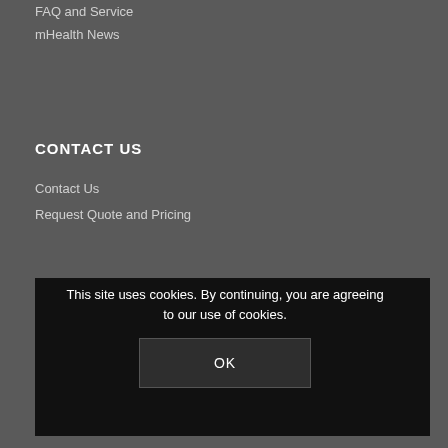FAQ and Service
mHealth News
CONTACT US
Contact Us
Request Quote and Pricing
REQUEST SERVICE
Request Service & Parts
This site uses cookies. By continuing, you are agreeing to our use of cookies.
OK
VISIT OUR OTHER SOLUTIONS